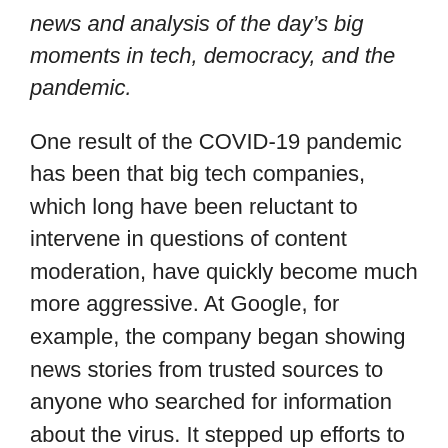news and analysis of the day's big moments in tech, democracy, and the pandemic.
One result of the COVID-19 pandemic has been that big tech companies, which long have been reluctant to intervene in questions of content moderation, have quickly become much more aggressive. At Google, for example, the company began showing news stories from trusted sources to anyone who searched for information about the virus. It stepped up efforts to remove videos containing misinformation about the pandemic from YouTube.
YouTube also added a “shelf” of high-quality breaking news videos, along with links to the World Health Organization Center for Di...